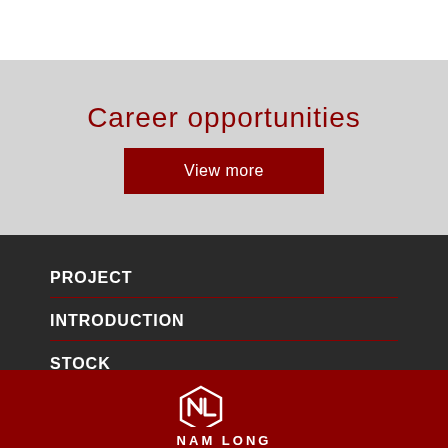Career opportunities
View more
PROJECT
INTRODUCTION
STOCK
NEWS
[Figure (logo): Nam Long company logo — hexagonal icon with stylized NL letters, white on red background, with NAM LONG text below]